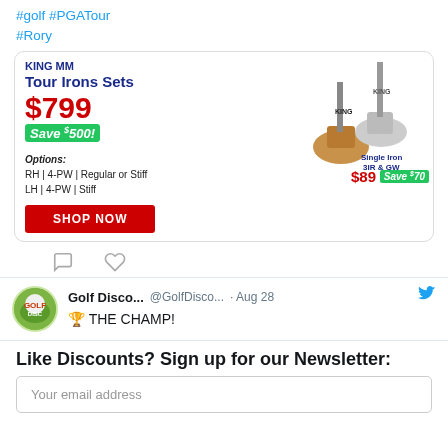#golf #PGATour #Rory
[Figure (screenshot): Advertisement for KING MM Tour Irons Sets at $799, Save $500. Options: RH 4-PW Regular or Stiff, LH 4-PW Stiff. Single Iron 3IR & GW $89.99, Save $70. Shop Now button. Golf irons product image.]
[Figure (other): Comment/like icons row]
Golf Disco... @GolfDisco... · Aug 28 🏆 THE CHAMP!
Like Discounts? Sign up for our Newsletter:
Your email address